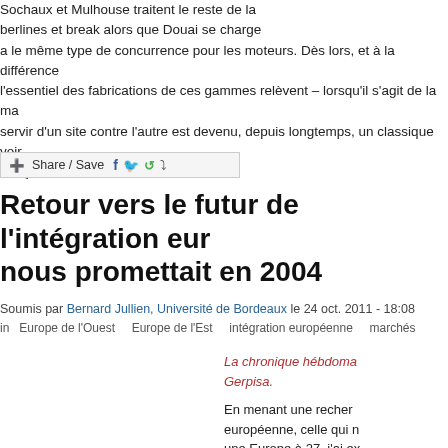Sochaux et Mulhouse traitent le reste de la berlines et break alors que Douai se charge a le même type de concurrence pour les moteurs. Dès lors, et à la différence l'essentiel des fabrications de ces gammes relèvent – lorsqu'il s'agit de la ma servir d'un site contre l'autre est devenu, depuis longtemps, un classique voi français. lire la suite
[Figure (other): Share/Save social media button bar with Facebook, Twitter, and other icons]
Retour vers le futur de l'intégration eur nous promettait en 2004
Soumis par Bernard Jullien, Université de Bordeaux le 24 oct. 2011 - 18:08
in   Europe de l'Ouest    Europe de l'Est    intégration européenne    marchés
La chronique hébdoma Gerpisa.
En menant une recher européenne, celle qui n une Europe à 27, j'ai ex consacré en 2004 la re célébrer l'entrée des pr